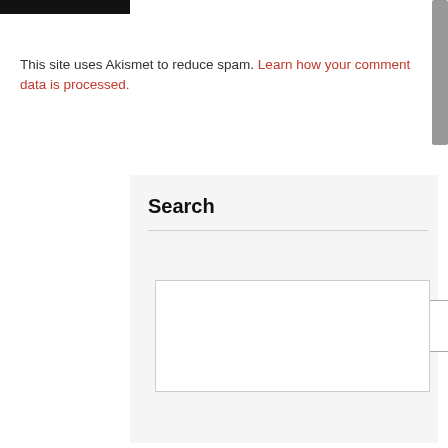[Figure (screenshot): Black header bar partially visible at top left]
This site uses Akismet to reduce spam. Learn how your comment data is processed.
Search
[Figure (screenshot): Google Enhanced Search widget with search input field and blue search button]